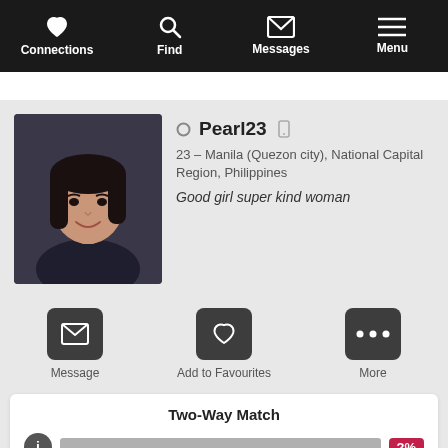Connections  Find  Messages  Menu
[Figure (photo): Profile photo of Pearl23, a young woman smiling, dark hair]
Pearl23
23 – Manila (Quezon city), National Capital Region, Philippines
Good girl super kind woman
Message  Add to Favourites  More
Two-Way Match
Join and create your free profile today to see how well you match with her, and hundreds more.
Join now
Online: More than 6 months ago